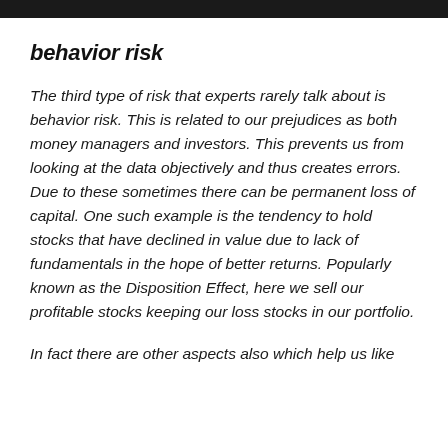behavior risk
The third type of risk that experts rarely talk about is behavior risk. This is related to our prejudices as both money managers and investors. This prevents us from looking at the data objectively and thus creates errors. Due to these sometimes there can be permanent loss of capital. One such example is the tendency to hold stocks that have declined in value due to lack of fundamentals in the hope of better returns. Popularly known as the Disposition Effect, here we sell our profitable stocks keeping our loss stocks in our portfolio.
In fact there are other aspects also which help us like